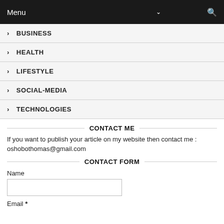Menu
> BUSINESS
> HEALTH
> LIFESTYLE
> SOCIAL-MEDIA
> TECHNOLOGIES
CONTACT ME
If you want to publish your article on my website then contact me : oshobothomas@gmail.com
CONTACT FORM
Name
Email *